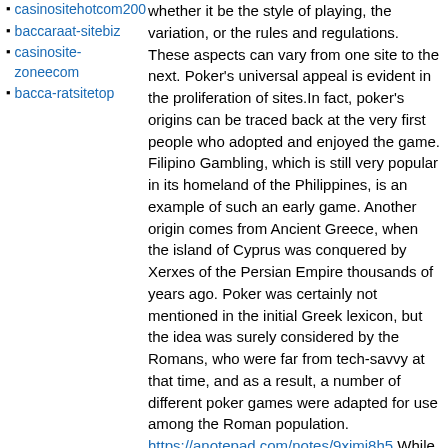casinositehotcom200
baccaraat-sitebiz
casinosite-zoneecom
bacca-ratsitetop
whether it be the style of playing, the variation, or the rules and regulations. These aspects can vary from one site to the next. Poker's universal appeal is evident in the proliferation of sites.In fact, poker's origins can be traced back at the very first people who adopted and enjoyed the game. Filipino Gambling, which is still very popular in its homeland of the Philippines, is an example of such an early game. Another origin comes from Ancient Greece, when the island of Cyprus was conquered by Xerxes of the Persian Empire thousands of years ago. Poker was certainly not mentioned in the initial Greek lexicon, but the idea was surely considered by the Romans, who were far from tech-savvy at that time, and as a result, a number of different poker games were adapted for use among the Roman population. https://anotepad.com/notes/9ximi8h5 While most of today's Poker Rules are widely accepted and used all over the World, there is a small number of Original Rules that are not so well-known. One card per hand is the Poker Card Count in standard English. Twenty-one is known as the earliest Poker Card Count.As mentioned before, the Poker Card Count is the number of poker chips (known as poker chips) that are dealt out during a game. The outcome of a poker tournament is determined by